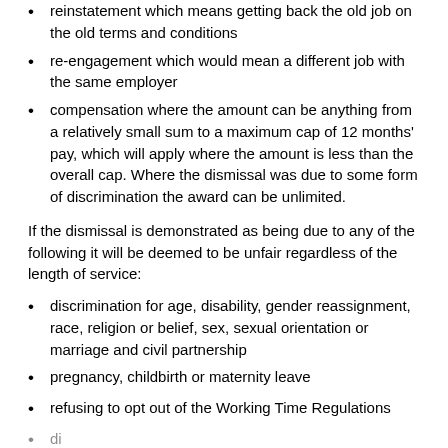reinstatement which means getting back the old job on the old terms and conditions
re-engagement which would mean a different job with the same employer
compensation where the amount can be anything from a relatively small sum to a maximum cap of 12 months' pay, which will apply where the amount is less than the overall cap. Where the dismissal was due to some form of discrimination the award can be unlimited.
If the dismissal is demonstrated as being due to any of the following it will be deemed to be unfair regardless of the length of service:
discrimination for age, disability, gender reassignment, race, religion or belief, sex, sexual orientation or marriage and civil partnership
pregnancy, childbirth or maternity leave
refusing to opt out of the Working Time Regulations
dismissal on grounds of some other protected characteristic